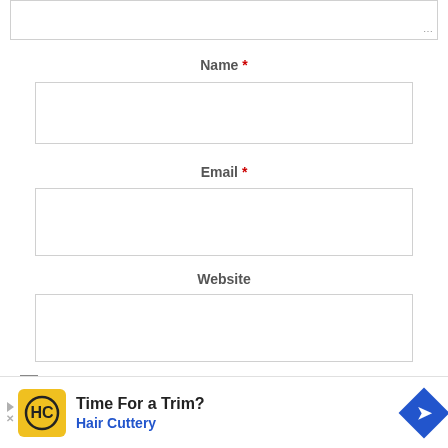[Figure (screenshot): Partial textarea form field at top, cut off]
Name *
[Figure (screenshot): Empty Name input text box]
Email *
[Figure (screenshot): Empty Email input text box]
Website
[Figure (screenshot): Empty Website input text box]
Save my name, email, and website in this browser for the next time I comment.
[Figure (screenshot): Red submit button partially visible at bottom]
Time For a Trim? Hair Cuttery